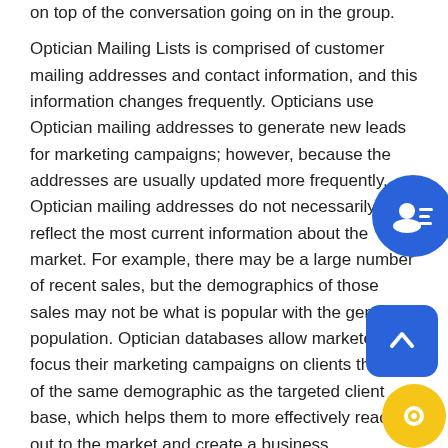on top of the conversation going on in the group.
Optician Mailing Lists is comprised of customer mailing addresses and contact information, and this information changes frequently. Opticians use Optician mailing addresses to generate new leads for marketing campaigns; however, because the addresses are usually updated more frequently, Optician mailing addresses do not necessarily reflect the most current information about the market. For example, there may be a large number of recent sales, but the demographics of those sales may not be what is popular with the general population. Optician databases allow marketers to focus their marketing campaigns on clients that are of the same demographic as the targeted client base, which helps them to more effectively reach out to the market and create a business.